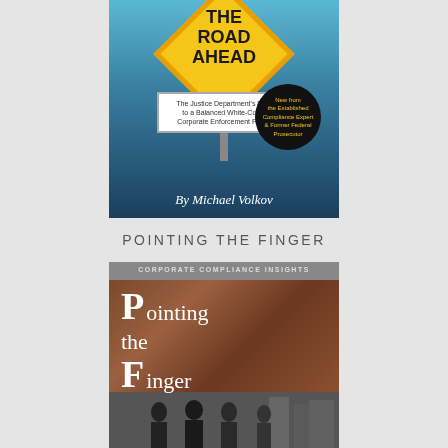[Figure (illustration): Book cover for 'The Road Ahead: The Justice Department's Path to a Balanced White-Collar Corporate Enforcement Policy' by Michael Volkov. Features a yellow diamond road sign against a blue sky background with a badge saying 'New from the Established Compliance Expert & Former Federal Prosecutor'.]
POINTING THE FINGER
[Figure (illustration): Book cover for 'Pointing the Finger' published by Corporate Compliance Insights. Shows stylized large serif text on a wood-paneled background with a black-and-white photo of men in suits below.]